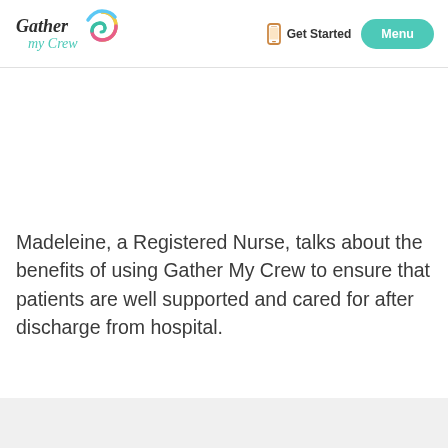[Figure (logo): Gather My Crew logo with colorful swirl and stylized text]
[Figure (infographic): Phone icon next to Get Started text and teal Menu button]
Madeleine, a Registered Nurse, talks about the benefits of using Gather My Crew to ensure that patients are well supported and cared for after discharge from hospital.